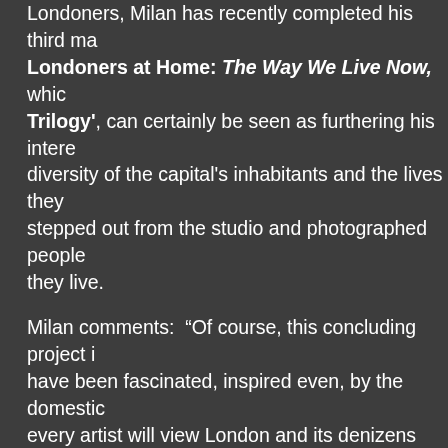Londoners, Milan has recently completed his third ma... Londoners at Home: The Way We Live Now, whic... Trilogy', can certainly be seen as furthering his intere... diversity of the capital's inhabitants and the lives they ... stepped out from the studio and photographed people... they live.

Milan comments: “Of course, this concluding project i... have been fascinated, inspired even, by the domestic... every artist will view London and its denizens from a c... captured at a particular time helps create a record tha... circumstances of most Londoners are changing and e... or unluckiest few, nothing ever seems to change very... Milan discovered a sequence of photographs bearing... selected himself: this was London at home, by Mag... photographed Londoners during the period 1991-1993... a foreword by Alan Bennett, was published in 1993, d... photographs was mounted at the Museum of Lond...